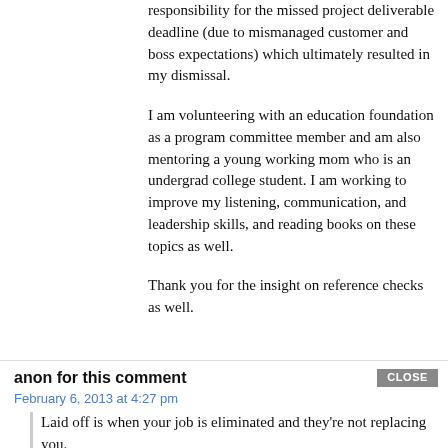responsibility for the missed project deliverable deadline (due to mismanaged customer and boss expectations) which ultimately resulted in my dismissal.
I am volunteering with an education foundation as a program committee member and am also mentoring a young working mom who is an undergrad college student. I am working to improve my listening, communication, and leadership skills, and reading books on these topics as well.
Thank you for the insight on reference checks as well.
anon for this comment
February 6, 2013 at 4:27 pm
Laid off is when your job is eliminated and they're not replacing you.